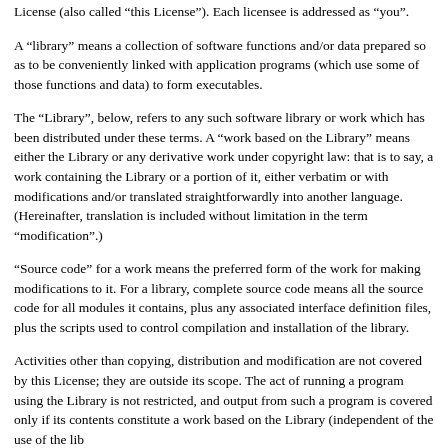License (also called "this License"). Each licensee is addressed as "you".
A “library” means a collection of software functions and/or data prepared so as to be conveniently linked with application programs (which use some of those functions and data) to form executables.
The “Library”, below, refers to any such software library or work which has been distributed under these terms. A “work based on the Library” means either the Library or any derivative work under copyright law: that is to say, a work containing the Library or a portion of it, either verbatim or with modifications and/or translated straightforwardly into another language. (Hereinafter, translation is included without limitation in the term “modification”.)
“Source code” for a work means the preferred form of the work for making modifications to it. For a library, complete source code means all the source code for all modules it contains, plus any associated interface definition files, plus the scripts used to control compilation and installation of the library.
Activities other than copying, distribution and modification are not covered by this License; they are outside its scope. The act of running a program using the Library is not restricted, and output from such a program is covered only if its contents constitute a work based on the Library (independent of the use of the library in creating it). Whether that is true depends on what the lib...